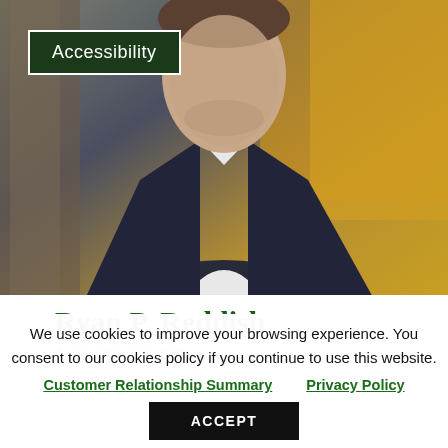[Figure (photo): Professional headshot of Ryan P. Reddish wearing a dark navy suit and white shirt, photographed outdoors with autumn yellow foliage and tree bark in the background. An 'Accessibility' button overlay appears in the top-left corner of the image.]
Ryan P. Reddish
Acquisitions Manager
We use cookies to improve your browsing experience. You consent to our cookies policy if you continue to use this website.
Customer Relationship Summary    Privacy Policy
ACCEPT